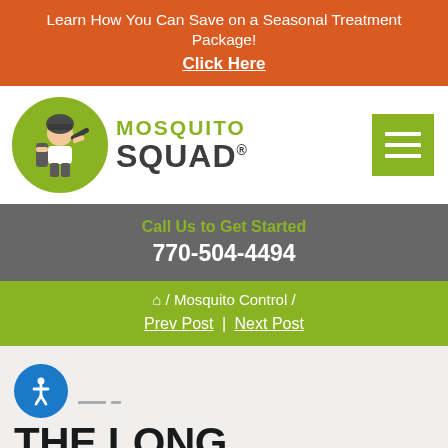Learn How You Can Save on a Seasonal Treatment Package! Click Here
[Figure (logo): Mosquito Squad logo with mascot character in green circle and company name]
[Figure (other): Green hamburger menu button with three white lines]
Call Us to Get Started 770-504-4494
/ Mosquito Control / Prev Post | Next Post
[Figure (other): Blue accessibility icon with person symbol]
THE LONG